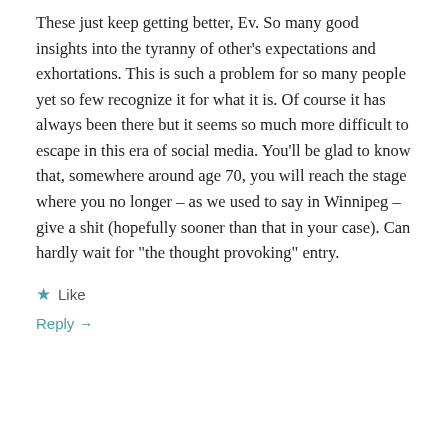These just keep getting better, Ev. So many good insights into the tyranny of other's expectations and exhortations. This is such a problem for so many people yet so few recognize it for what it is. Of course it has always been there but it seems so much more difficult to escape in this era of social media. You'll be glad to know that, somewhere around age 70, you will reach the stage where you no longer – as we used to say in Winnipeg – give a shit (hopefully sooner than that in your case). Can hardly wait for “the thought provoking” entry.
★ Like
Reply →